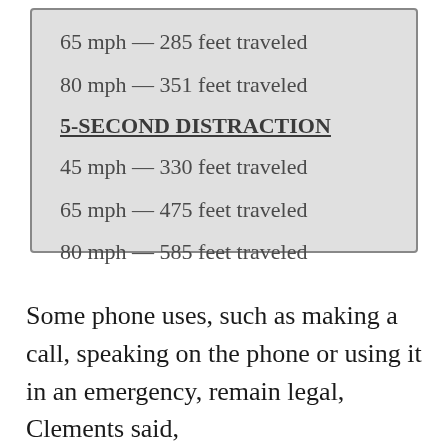65 mph — 285 feet traveled
80 mph — 351 feet traveled
5-SECOND DISTRACTION
45 mph — 330 feet traveled
65 mph — 475 feet traveled
80 mph — 585 feet traveled
Some phone uses, such as making a call, speaking on the phone or using it in an emergency, remain legal, Clements said,